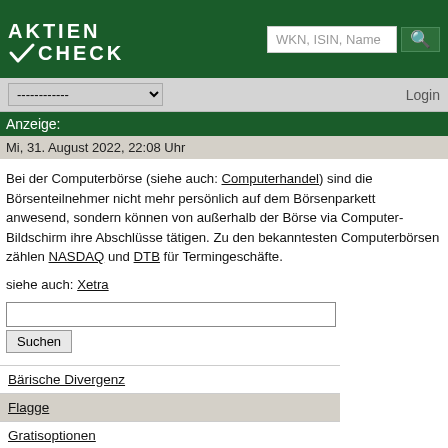[Figure (logo): Aktien Check logo with white text on dark green background, checkmark between Aktien and Check]
WKN, ISIN, Name
------------ Login
Anzeige:
Mi, 31. August 2022, 22:08 Uhr
Bei der Computerbörse (siehe auch: Computerhandel) sind die Börsenteilnehmer nicht mehr persönlich auf dem Börsenparkett anwesend, sondern können von außerhalb der Börse via Computer-Bildschirm ihre Abschlüsse tätigen. Zu den bekanntesten Computerbörsen zählen NASDAQ und DTB für Termingeschäfte.
siehe auch: Xetra
Bärische Divergenz
Flagge
Gratisoptionen
Liquidität
Volatilität